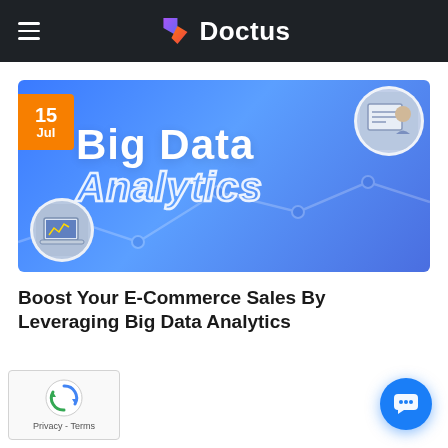Doctus
[Figure (illustration): Blog article header image with blue gradient background showing 'Big Data Analytics' text, a date badge '15 Jul' in orange, a circular photo of someone writing/drawing in top-right, a circular photo of a laptop in bottom-left, and a connected-dots graph overlay.]
Boost Your E-Commerce Sales By Leveraging Big Data Analytics